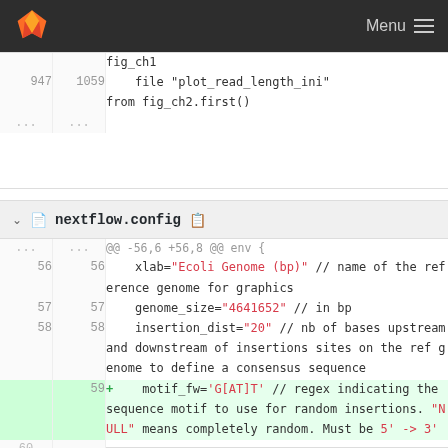Menu
| old | new | code |
| --- | --- | --- |
|  |  | fig_ch1 |
| 947 | 1059 |     file "plot_read_length_ini" |
|  |  | from fig_ch2.first() |
| ... | ... |  |
nextflow.config
| old | new | code |
| --- | --- | --- |
| ... | ... | @@ -56,6 +56,8 @@ env { |
| 56 | 56 |     xlab="Ecoli Genome (bp)" // name of the reference genome for graphics |
| 57 | 57 |     genome_size="4641652" // in bp |
| 58 | 58 |     insertion_dist="20" // nb of bases upstream and downstream of insertions sites on the ref genome to define a consensus sequence |
|  | 59 | +    motif_fw='G[AT]T' // regex indicating the sequence motif to use for random insertions. "NULL" means completely random. Must be 5' -> 3' |